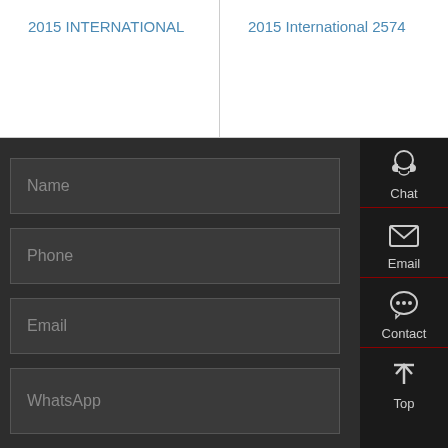2015 INTERNATIONAL
2015 International 2574
[Figure (screenshot): Dark-themed contact form with fields for Name, Phone, Email, and WhatsApp, plus a sidebar with Chat, Email, Contact, and Top navigation icons]
Name
Phone
Email
WhatsApp
Chat
Email
Contact
Top